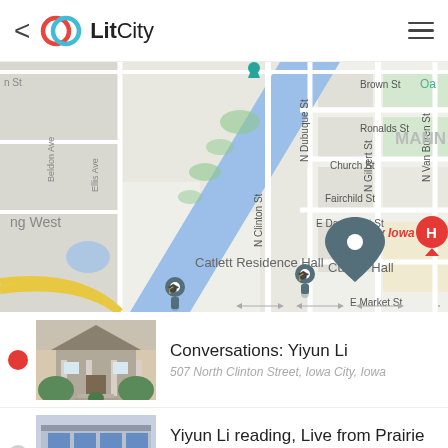< LitCity [menu]
[Figure (map): Street map of Iowa City area showing Catlett Residence Hall, Currier Hall, Mercy Iowa City, Iowa River, and surrounding streets including Brown St, Ronalds St, Church St, Fairchild St, E Davenport St, E Market St, N Clinton St, N Dubuque St, Beldon Ave, Ellis Ave, N Gilbert St, N Van Buren St.]
Conversations: Yiyun Li
507 North Clinton Street, Iowa City, Iowa
Yiyun Li reading, Live from Prairie Lights
15 South Dubuque Street, Iowa City Iowa